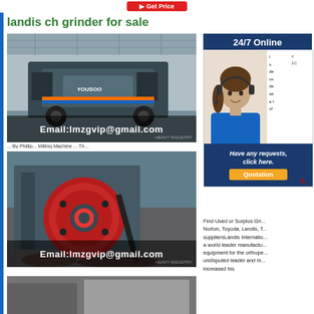landis ch grinder for sale
[Figure (photo): Industrial mobile crusher machine in a factory/warehouse setting with Email:lmzgvip@gmail.com overlay]
... By Phillip... Milling Machine ... Th...
[Figure (photo): Close-up of industrial grinding/crushing machine with large red circular wheel, Email:lmzgvip@gmail.com overlay]
[Figure (photo): Partial view of another industrial machine at bottom]
[Figure (photo): 24/7 Online chat widget with woman wearing headset and Have any requests, click here. Quotation button]
Find Used or Surplus Gri... Norton, Toyoda, Landis, T... suppliersLandis Internatio... a world leader manufactu... equipment for the orthope... undisputed leader and m... increased his